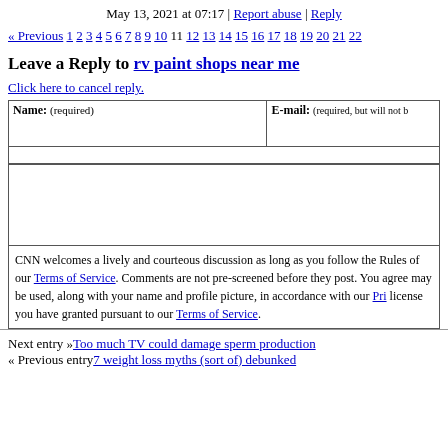May 13, 2021 at 07:17 | Report abuse | Reply
« Previous 1 2 3 4 5 6 7 8 9 10 11 12 13 14 15 16 17 18 19 20 21 22
Leave a Reply to rv paint shops near me
Click here to cancel reply.
Name: (required)   E-mail: (required, but will not be published)
CNN welcomes a lively and courteous discussion as long as you follow the Rules of Conduct set forth in our Terms of Service. Comments are not pre-screened before they post. You agree that anything you post may be used, along with your name and profile picture, in accordance with our Privacy Policy and the license you have granted pursuant to our Terms of Service.
Next entry »Too much TV could damage sperm production
« Previous entry7 weight loss myths (sort of) debunked